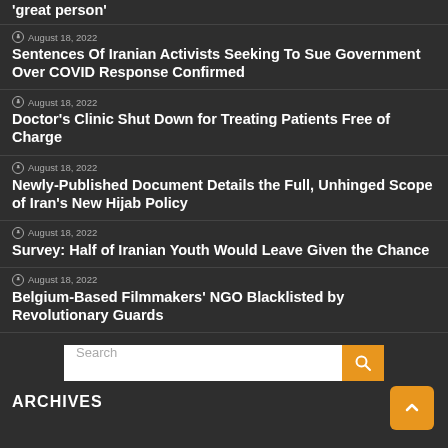'great person'
August 18, 2022 — Sentences Of Iranian Activists Seeking To Sue Government Over COVID Response Confirmed
August 18, 2022 — Doctor's Clinic Shut Down for Treating Patients Free of Charge
August 18, 2022 — Newly-Published Document Details the Full, Unhinged Scope of Iran's New Hijab Policy
August 18, 2022 — Survey: Half of Iranian Youth Would Leave Given the Chance
August 18, 2022 — Belgium-Based Filmmakers' NGO Blacklisted by Revolutionary Guards
Search
ARCHIVES